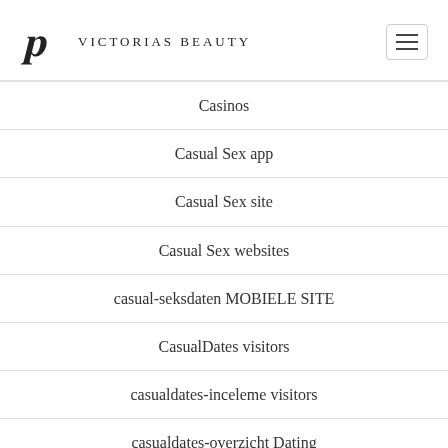Victorias Beauty
Casinos
Casual Sex app
Casual Sex site
Casual Sex websites
casual-seksdaten MOBIELE SITE
CasualDates visitors
casualdates-inceleme visitors
casualdates-overzicht Dating
casualdates-overzicht Log in